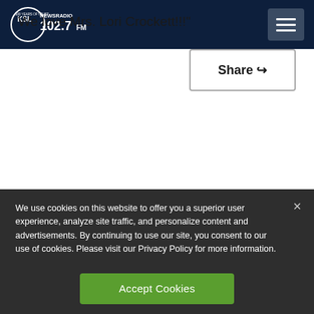KSL NewsRadio 102.7FM
We love Mrs. Lori Crockett!!!"
Share
[Figure (logo): Partial Alexa logo with green quotation marks and dark blue text]
We use cookies on this website to offer you a superior user experience, analyze site traffic, and personalize content and advertisements. By continuing to use our site, you consent to our use of cookies. Please visit our Privacy Policy for more information.
Accept Cookies